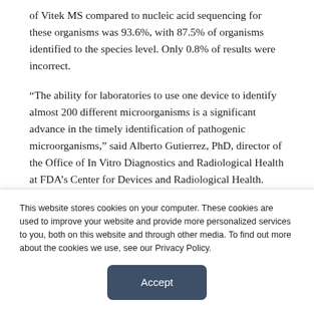of Vitek MS compared to nucleic acid sequencing for these organisms was 93.6%, with 87.5% of organisms identified to the species level. Only 0.8% of results were incorrect.
“The ability for laboratories to use one device to identify almost 200 different microorganisms is a significant advance in the timely identification of pathogenic microorganisms,” said Alberto Gutierrez, PhD, director of the Office of In Vitro Diagnostics and Radiological Health at FDA’s Center for Devices and Radiological Health. “Rapid identification of harmful microorganisms can improve the care of critically ill
This website stores cookies on your computer. These cookies are used to improve your website and provide more personalized services to you, both on this website and through other media. To find out more about the cookies we use, see our Privacy Policy.
Accept